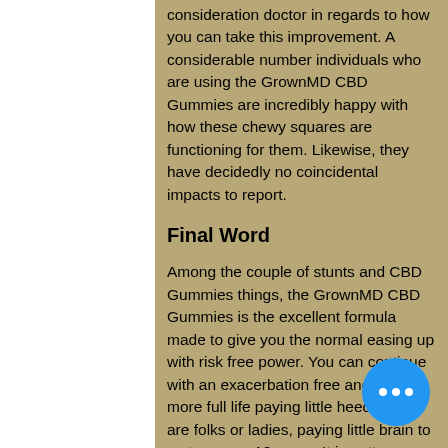consideration doctor in regards to how you can take this improvement. A considerable number individuals who are using the GrownMD CBD Gummies are incredibly happy with how these chewy squares are functioning for them. Likewise, they have decidedly no coincidental impacts to report.
Final Word
Among the couple of stunts and CBD Gummies things, the GrownMD CBD Gummies is the excellent formula made to give you the normal easing up with risk free power. You can continue with an exacerbation free and all the more full life paying little heed to you are folks or ladies, paying little brain to mature over 18 years. It is gotten a kick out of the chance to chat with your essential consideration doctor prior to adding to your daily schedule. rebate ensure offers you the confiden utilize the thing without any dangers.